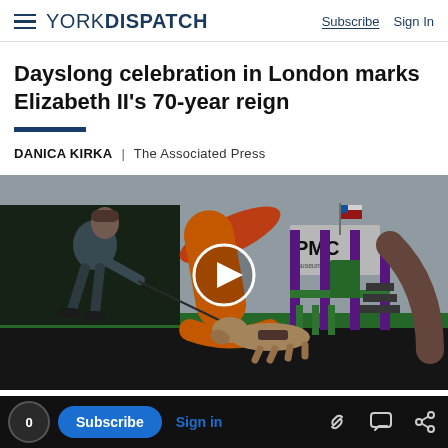YORK DISPATCH | Subscribe  Sign In
Dayslong celebration in London marks Elizabeth II's 70-year reign
DANICA KIRKA | The Associated Press
[Figure (photo): A person with a dog on a leash at a colorful playground with an orange slide and purple/green structures. A video play button overlay is shown in the center of the image.]
0  Subscribe  Sign in